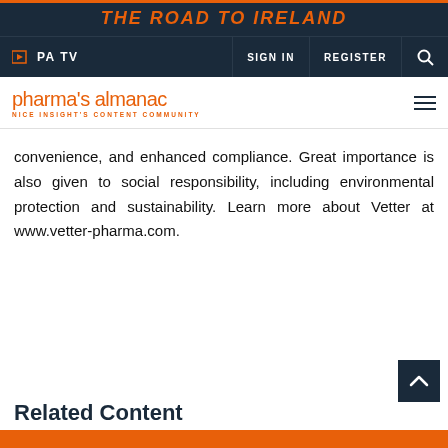THE ROAD TO IRELAND
PA TV  SIGN IN  REGISTER
[Figure (logo): pharma's almanac logo with tagline NICE INSIGHT'S CONTENT COMMUNITY]
convenience, and enhanced compliance. Great importance is also given to social responsibility, including environmental protection and sustainability. Learn more about Vetter at www.vetter-pharma.com.
Related Content